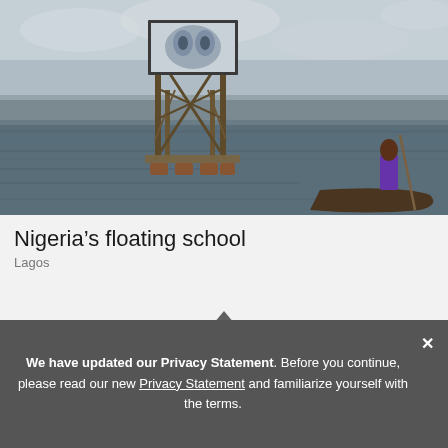[Figure (photo): A floating wooden scaffold structure on a lagoon in Lagos, Nigeria, with a billboard/screen mounted on top. A person stands in a narrow boat in the foreground, holding a pole. The background shows overcast sky and a distant shoreline of informal settlements.]
Nigeria’s floating school
Lagos
Back to Top
We have updated our Privacy Statement. Before you continue, please read our new Privacy Statement and familiarize yourself with the terms.